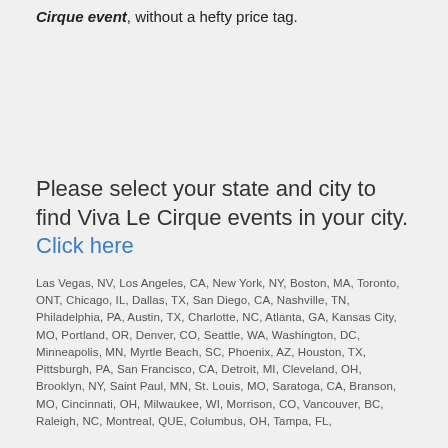Cirque event, without a hefty price tag.
Please select your state and city to find Viva Le Cirque events in your city. Click here
Las Vegas, NV, Los Angeles, CA, New York, NY, Boston, MA, Toronto, ONT, Chicago, IL, Dallas, TX, San Diego, CA, Nashville, TN, Philadelphia, PA, Austin, TX, Charlotte, NC, Atlanta, GA, Kansas City, MO, Portland, OR, Denver, CO, Seattle, WA, Washington, DC, Minneapolis, MN, Myrtle Beach, SC, Phoenix, AZ, Houston, TX, Pittsburgh, PA, San Francisco, CA, Detroit, MI, Cleveland, OH, Brooklyn, NY, Saint Paul, MN, St. Louis, MO, Saratoga, CA, Branson, MO, Cincinnati, OH, Milwaukee, WI, Morrison, CO, Vancouver, BC, Raleigh, NC, Montreal, QUE, Columbus, OH, Tampa, FL,
Not Sure What To Bring To A Viva Le Cirque Event?
There's nothing quite like your first Live concert tour or sports event, But before you head out to that awesome Viva Le Cirque event, you'll need